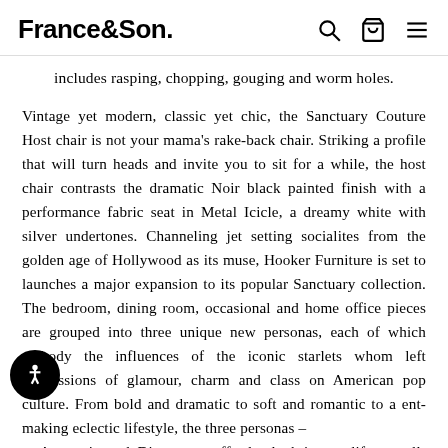France&Son
includes rasping, chopping, gouging and worm holes.
Vintage yet modern, classic yet chic, the Sanctuary Couture Host chair is not your mama’s rake-back chair. Striking a profile that will turn heads and invite you to sit for a while, the host chair contrasts the dramatic Noir black painted finish with a performance fabric seat in Metal Icicle, a dreamy white with silver undertones. Channeling jet setting socialites from the golden age of Hollywood as its muse, Hooker Furniture is set to launches a major expansion to its popular Sanctuary collection. The bedroom, dining room, occasional and home office pieces are grouped into three unique new personas, each of which embody the influences of the iconic starlets whom left impressions of glamour, charm and class on American pop culture. From bold and dramatic to soft and romantic to a ent-making eclectic lifestyle, the three personas – e, Anastasie and Diamant – effortlessly bring to life a well-traveled socialite who has curated a collection of home